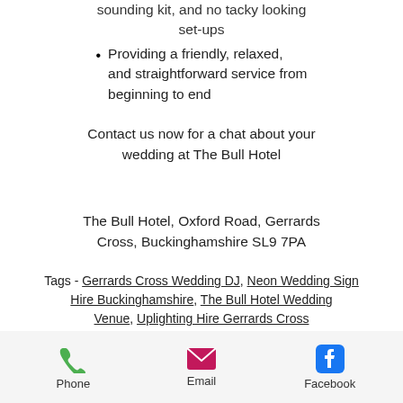sounding kit, and no tacky looking set-ups
Providing a friendly, relaxed, and straightforward service from beginning to end
Contact us now for a chat about your wedding at The Bull Hotel
The Bull Hotel, Oxford Road, Gerrards Cross, Buckinghamshire SL9 7PA
Tags - Gerrards Cross Wedding DJ, Neon Wedding Sign Hire Buckinghamshire, The Bull Hotel Wedding Venue, Uplighting Hire Gerrards Cross, Rustic Love Letters, Photo Booth Hire Gerrards Cross
Phone  Email  Facebook